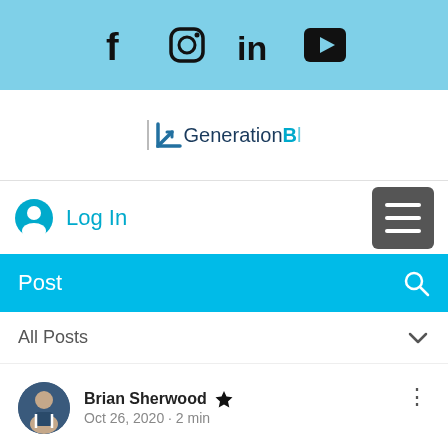[Figure (screenshot): Social media icons bar: Facebook, Instagram, LinkedIn, YouTube on light blue background]
[Figure (logo): Generation B logo with arrow graphic and text 'Generation B']
Log In
Post
All Posts
Brian Sherwood
Oct 26, 2020 · 2 min
What We're Following